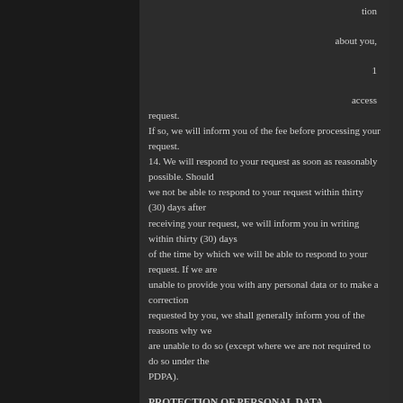tion
about you,
1
access
request.
If so, we will inform you of the fee before processing your request.
14. We will respond to your request as soon as reasonably possible. Should
we not be able to respond to your request within thirty (30) days after
receiving your request, we will inform you in writing within thirty (30) days
of the time by which we will be able to respond to your request. If we are
unable to provide you with any personal data or to make a correction
requested by you, we shall generally inform you of the reasons why we
are unable to do so (except where we are not required to do so under the
PDPA).
PROTECTION OF PERSONAL DATA
15. To safeguard your personal data from unauthorised access, collection,
use, disclosure, copying, modification, disposal or similar risks, we have
introduced appropriate administrative, physical and technical measures
such as up-to-date antivirus protection, encryption and the use of
privacy